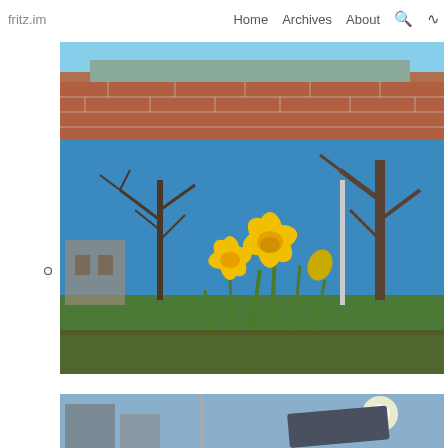fritz.im   Home   Archives   About
[Figure (photo): Close-up of a brick wall with a gray stone or concrete ledge/sill at the top, photographed from below]
[Figure (photo): Yellow daffodil flowers blooming in a garden bed with bare winter trees and a bright blue sky in the background, low-angle shot]
[Figure (photo): Partial bottom image showing a street scene with buildings and sunlight, partially cut off]